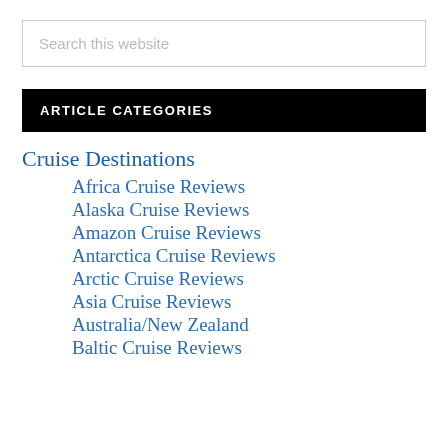Search this website
ARTICLE CATEGORIES
Cruise Destinations
Africa Cruise Reviews
Alaska Cruise Reviews
Amazon Cruise Reviews
Antarctica Cruise Reviews
Arctic Cruise Reviews
Asia Cruise Reviews
Australia/New Zealand
Baltic Cruise Reviews